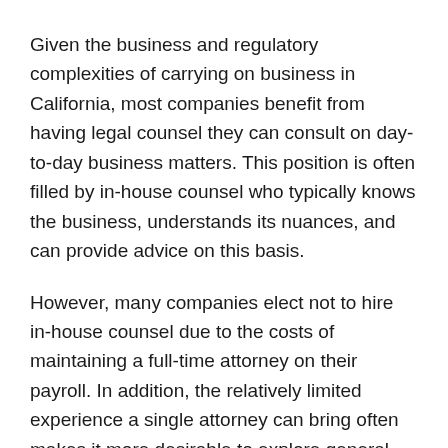Given the business and regulatory complexities of carrying on business in California, most companies benefit from having legal counsel they can consult on day-to-day business matters. This position is often filled by in-house counsel who typically knows the business, understands its nuances, and can provide advice on this basis.
However, many companies elect not to hire in-house counsel due to the costs of maintaining a full-time attorney on their payroll. In addition, the relatively limited experience a single attorney can bring often makes it more desirable to explore general counsel services with a larger firm.